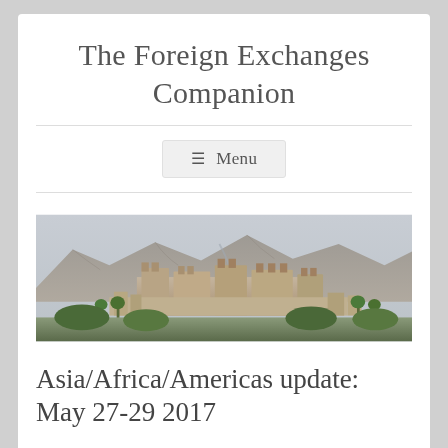The Foreign Exchanges Companion
[Figure (screenshot): Menu button with hamburger icon and text 'Menu' on a light gray background]
[Figure (photo): Landscape photo of a historic Middle Eastern or North African fortified city/castle set against arid rocky mountains, with palm trees and buildings in the foreground]
Asia/Africa/Americas update: May 27-29 2017